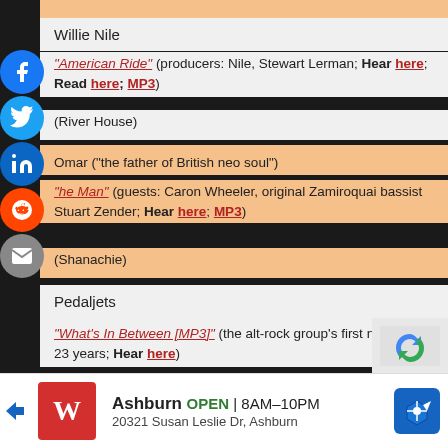Willie Nile
"American Ride" (producers: Nile, Stewart Lerman; Hear here; Read here; MP3)
(River House)
Omar ("the father of British neo soul")
"he Man" (guests: Caron Wheeler, original Zamiroquai bassist Stuart Zender; Hear here; MP3)
(Shanachie)
Pedaljets
"What's In Between [MP3]" (the alt-rock group's first new material in 23 years; Hear here)
[Figure (other): Social media sharing sidebar with Facebook, Twitter, LinkedIn, Reddit, and Email buttons]
[Figure (other): Advertisement for Walgreens in Ashburn, OPEN 8AM-10PM, 20321 Susan Leslie Dr, Ashburn]